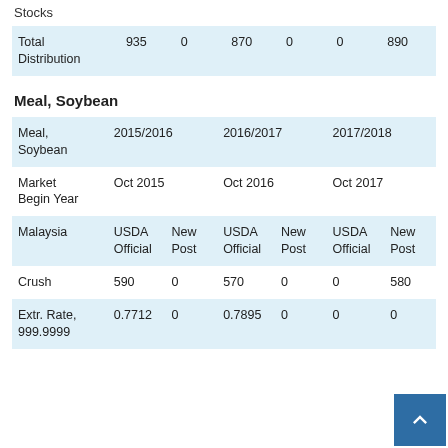Stocks
|  | USDA Official | New Post | USDA Official | New Post | USDA Official | New Post |
| --- | --- | --- | --- | --- | --- | --- |
| Total Distribution | 935 | 0 | 870 | 0 | 0 | 890 |
Meal, Soybean
| Meal, Soybean | 2015/2016 | 2016/2017 | 2017/2018 |
| --- | --- | --- | --- |
| Market Begin Year | Oct 2015 | Oct 2016 | Oct 2017 |
| Malaysia | USDA Official | New Post | USDA Official | New Post | USDA Official | New Post |
| Crush | 590 | 0 | 570 | 0 | 0 | 580 |
| Extr. Rate, 999.9999 | 0.7712 | 0 | 0.7895 | 0 | 0 | 0 |